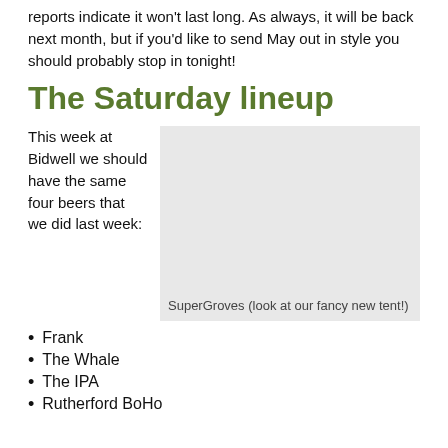reports indicate it won't last long. As always, it will be back next month, but if you'd like to send May out in style you should probably stop in tonight!
The Saturday lineup
This week at Bidwell we should have the same four beers that we did last week:
[Figure (photo): Photo of SuperGroves showing a fancy new tent]
SuperGroves (look at our fancy new tent!)
Frank
The Whale
The IPA
Rutherford BoHo...